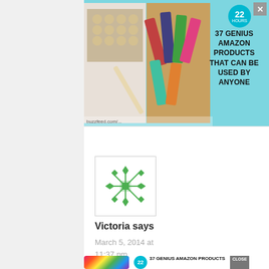[Figure (screenshot): Top advertisement banner with teal background showing '37 GENIUS AMAZON PRODUCTS THAT CAN BE USED BY ANYONE' with product photos (cookies/baking items and cosmetics) and a circular '22' badge. Has an X close button.]
[Figure (logo): Green geometric snowflake/asterisk pattern logo in a light bordered box, representing a commenter avatar for Victoria.]
Victoria says
March 5, 2014 at 11:37 pm
Awesome
[Figure (screenshot): Bottom advertisement showing colorful scrunchies/hair ties on the left, '37 GENIUS AMAZON PRODUCTS THAT CAN BE USED BY ANYONE' text in the middle with a teal '22' badge, and an Oral-B Vitality electric toothbrush box on the right with a CLOSE button above.]